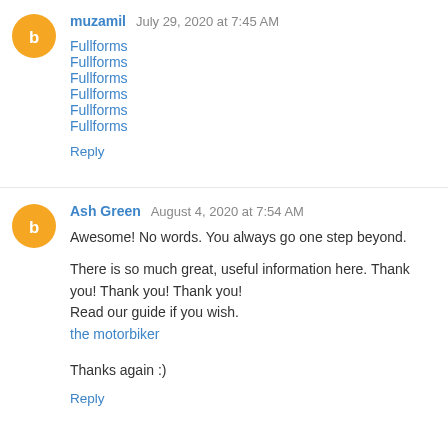muzamil July 29, 2020 at 7:45 AM
Fullforms
Fullforms
Fullforms
Fullforms
Fullforms
Fullforms
Reply
Ash Green August 4, 2020 at 7:54 AM
Awesome! No words. You always go one step beyond.
There is so much great, useful information here. Thank you! Thank you! Thank you!
Read our guide if you wish.
the motorbiker
Thanks again :)
Reply